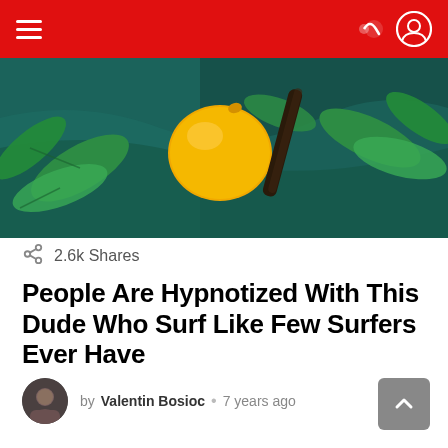Navigation bar with hamburger menu and user icons
[Figure (photo): Hero image showing fruit (lemon/orange) with green leaves on a dark teal background]
2.6k Shares
People Are Hypnotized With This Dude Who Surf Like Few Surfers Ever Have
by Valentin Bosioc • 7 years ago